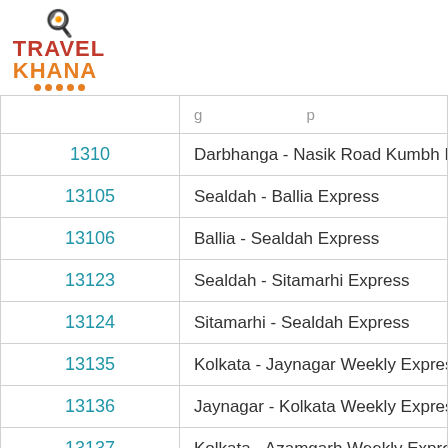[Figure (logo): TravelKhana logo with chef hat icon and orange/red text]
| Train Number | Train Name |
| --- | --- |
| 1310 | Darbhanga - Nasik Road Kumbh Mela Spe |
| 13105 | Sealdah - Ballia Express |
| 13106 | Ballia - Sealdah Express |
| 13123 | Sealdah - Sitamarhi Express |
| 13124 | Sitamarhi - Sealdah Express |
| 13135 | Kolkata - Jaynagar Weekly Express |
| 13136 | Jaynagar - Kolkata Weekly Express |
| 13137 | Kolkata - Azamgarh Weekly Express |
| 13138 | Azamgarh - Kolkata Weekly Express |
| 1315... | ... |